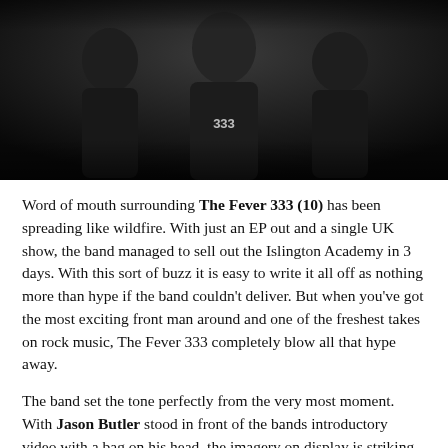[Figure (photo): Black and white photograph of The Fever 333 band members on stage, dark background, one member wearing a shirt with '333' visible]
Word of mouth surrounding The Fever 333 (10) has been spreading like wildfire. With just an EP out and a single UK show, the band managed to sell out the Islington Academy in 3 days. With this sort of buzz it is easy to write it all off as nothing more than hype if the band couldn't deliver. But when you've got the most exciting front man around and one of the freshest takes on rock music, The Fever 333 completely blow all that hype away.
The band set the tone perfectly from the very most moment. With Jason Butler stood in front of the bands introductory video with a bag on his head, the imagery on display is striking and shows the band have already put so much thought into what they do. This is all quickly blown away though as the band burst into their opening song. It's hard to know where to look as all three